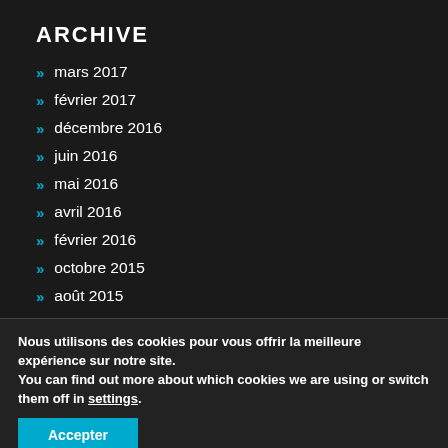ARCHIVE
mars 2017
février 2017
décembre 2016
juin 2016
mai 2016
avril 2016
février 2016
octobre 2015
août 2015
Nous utilisons des cookies pour vous offrir la meilleure expérience sur notre site.
You can find out more about which cookies we are using or switch them off in settings.
Accepter